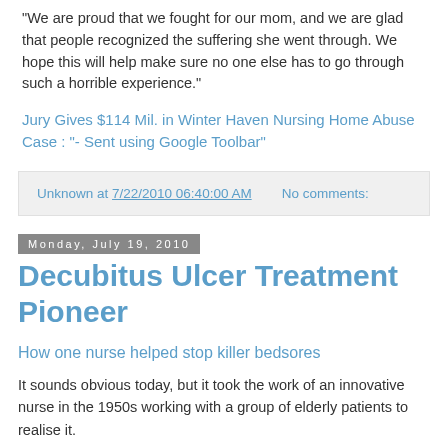"We are proud that we fought for our mom, and we are glad that people recognized the suffering she went through. We hope this will help make sure no one else has to go through such a horrible experience."
Jury Gives $114 Mil. in Winter Haven Nursing Home Abuse Case : "- Sent using Google Toolbar"
Unknown at 7/22/2010 06:40:00 AM    No comments:
Monday, July 19, 2010
Decubitus Ulcer Treatment Pioneer
How one nurse helped stop killer bedsores
It sounds obvious today, but it took the work of an innovative nurse in the 1950s working with a group of elderly patients to realise it.
Bedsores, also known as pressure ulcers or decubitus ulcers, are lesions caused by a number of factors including